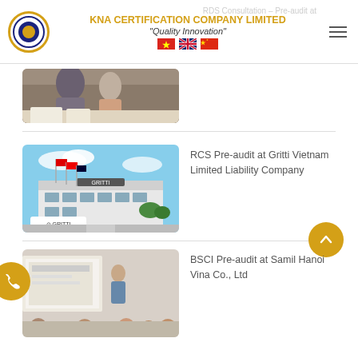KNA CERTIFICATION COMPANY LIMITED — Quality Innovation
[Figure (photo): People working at a table, reviewing documents — top article image (partially visible)]
[Figure (photo): Gritti Vietnam building exterior with flags]
RCS Pre-audit at Gritti Vietnam Limited Liability Company
[Figure (photo): Meeting room with presentation — BSCI Pre-audit article image]
BSCI Pre-audit at Samil Hanoi Vina Co., Ltd